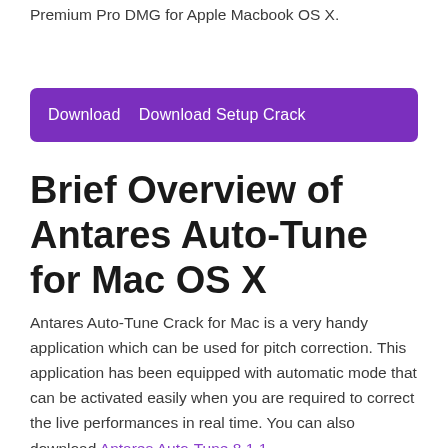Premium Pro DMG for Apple Macbook OS X.
Download   Download Setup Crack
Brief Overview of Antares Auto-Tune for Mac OS X
Antares Auto-Tune Crack for Mac is a very handy application which can be used for pitch correction. This application has been equipped with automatic mode that can be activated easily when you are required to correct the live performances in real time. You can also download Antares Auto-Tune 8.1.1.